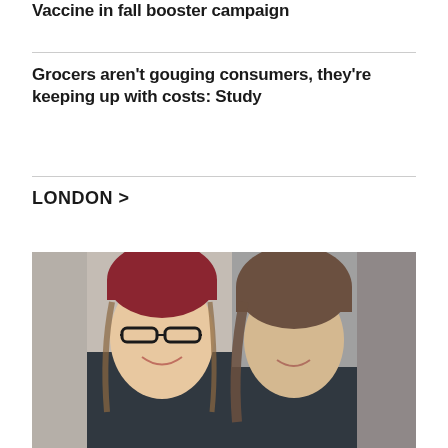Vaccine in fall booster campaign
Grocers aren't gouging consumers, they're keeping up with costs: Study
LONDON >
[Figure (photo): Two young people posing together for a selfie. On the left is a girl wearing glasses and a dark red/maroon beanie hat, smiling. On the right is a boy with long brown hair, also smiling.]